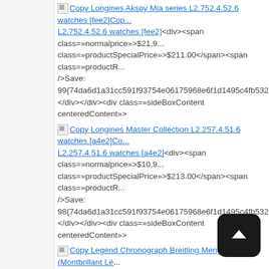[img]Copy Longines Aksoy Mia series L2.752.4.52.6 watches [fee2]Copy L2.752.4.52.6 watches [fee2]<div><span class=»normalprice»>$21,9... class=»productSpecialPrice»>$211.00</span><span class=»productR... />Save: 99{74da6d1a31cc591f93754e06175968e6f1d1495c4fb532bf... </div></div><div class=»sideBoxContent centeredContent»>
[img]Copy Longines Master Collection L2.257.4.51.6 watches [a4e2]Copy L2.257.4.51.6 watches [a4e2]<div><span class=»normalprice»>$10,9... class=»productSpecialPrice»>$213.00</span><span class=»productR... />Save: 98{74da6d1a31cc591f93754e06175968e6f1d1495c4fb532bf... </div></div><div class=»sideBoxContent centeredContent»>
[img]Copy Legend Chronograph Breitling Mengbai Lang (Montbrillant Lé... ( goldsmith Navitimer aviation bracelet ) watches [ba5d] Copy Legend Chronograph Breitling Mengbai Lang (Montbrillant Lége... goldsmith Navitimer aviation bracelet ) watches [ba5d]<div><span cla... </span> <span class=»productSpecialPrice»>$215.00</span><span ... <br />Save: 100{74da6d1a31cc591f93754e06175968e6f1d1495c4fb5... off</span></div></div></div>
</div></td>
<td id=»columnCenter» valign=»top»>
<div id=»navBreadCrumb»> Home ::